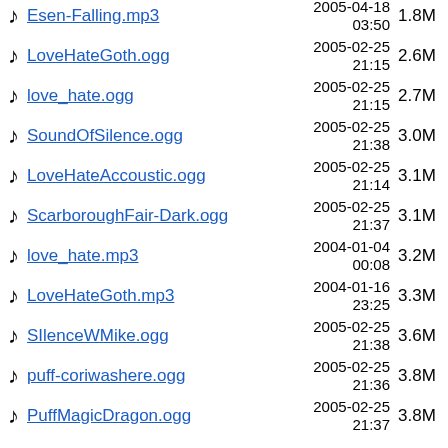Esen-Falling.mp3 | 2005-04-18 03:50 | 1.8M
LoveHateGoth.ogg | 2005-02-25 21:15 | 2.6M
love_hate.ogg | 2005-02-25 21:15 | 2.7M
SoundOfSilence.ogg | 2005-02-25 21:38 | 3.0M
LoveHateAccoustic.ogg | 2005-02-25 21:14 | 3.1M
ScarboroughFair-Dark.ogg | 2005-02-25 21:37 | 3.1M
love_hate.mp3 | 2004-01-04 00:08 | 3.2M
LoveHateGoth.mp3 | 2004-01-16 23:25 | 3.3M
SIlenceWMike.ogg | 2005-02-25 21:38 | 3.6M
puff-coriwashere.ogg | 2005-02-25 21:36 | 3.8M
PuffMagicDragon.ogg | 2005-02-25 21:37 | 3.8M
ScarboroughFair-Dark.mp3 | 2004-05-11 | 4.3M